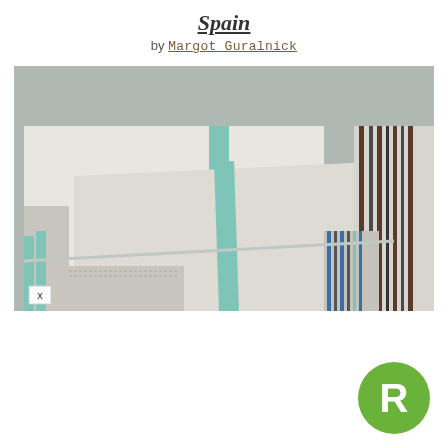Spain
by Margot Guralnick
[Figure (photo): Close-up photograph of fabric swatches and textile samples laid out on a surface. The main piece is a large off-white/cream textile with a teal/mint stripe running vertically. Additional striped fabric samples in blue, brown, and other colors are visible on the right side. The surface appears to be a gray metal or concrete table.]
[Figure (logo): Green circular logo with white letter R in the center.]